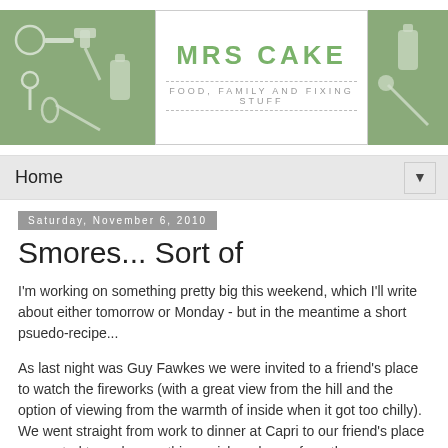MRS CAKE — FOOD, FAMILY AND FIXING STUFF
Smores... Sort of
Saturday, November 6, 2010
I'm working on something pretty big this weekend, which I'll write about either tomorrow or Monday - but in the meantime a short psuedo-recipe...
As last night was Guy Fawkes we were invited to a friend's place to watch the fireworks (with a great view from the hill and the option of viewing from the warmth of inside when it got too chilly). We went straight from work to dinner at Capri to our friend's place so wanted to grab something quick and easy from the supermarket. I hit on the idea of smores - they